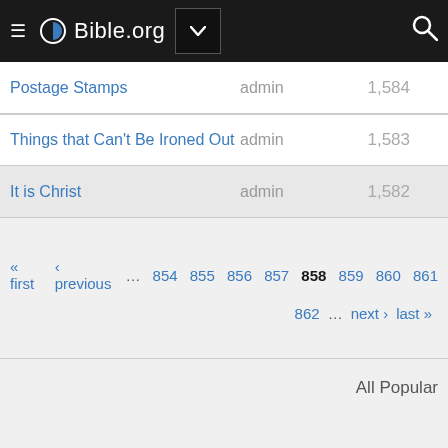Bible.org
| Title | Author | Count |
| --- | --- | --- |
| Postage Stamps | admin | 1,584 |
| Things that Can't Be Ironed Out | admin | 1,583 |
| It is Christ | admin | 1,582 |
« first ‹ previous … 854 855 856 857 858 859 860 861
862 … next › last »
All Popular